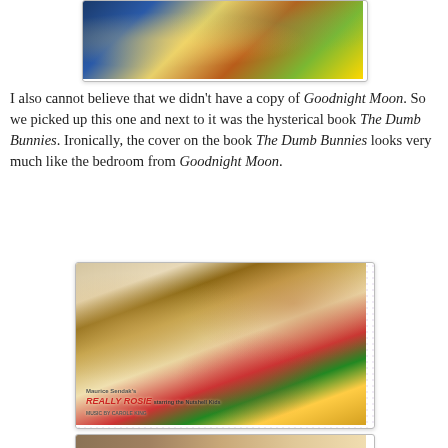[Figure (photo): Photo of children's books including Goodnight Moon displayed on a patterned surface]
I also cannot believe that we didn't have a copy of Goodnight Moon. So we picked up this one and next to it was the hysterical book The Dumb Bunnies. Ironically, the cover on the book The Dumb Bunnies looks very much like the bedroom from Goodnight Moon.
[Figure (photo): Photo of children's books including Maurice Sendak's Really Rosie starring the Nutshell Kids, Music by Carole King, and Let's Be Enemies, arranged on a patterned surface]
[Figure (photo): Partial photo of another children's book at the bottom of the page]